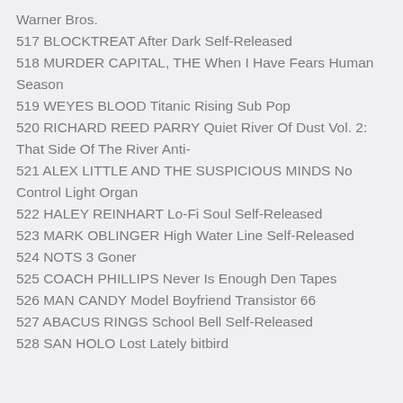Warner Bros.
517 BLOCKTREAT After Dark Self-Released
518 MURDER CAPITAL, THE When I Have Fears Human Season
519 WEYES BLOOD Titanic Rising Sub Pop
520 RICHARD REED PARRY Quiet River Of Dust Vol. 2: That Side Of The River Anti-
521 ALEX LITTLE AND THE SUSPICIOUS MINDS No Control Light Organ
522 HALEY REINHART Lo-Fi Soul Self-Released
523 MARK OBLINGER High Water Line Self-Released
524 NOTS 3 Goner
525 COACH PHILLIPS Never Is Enough Den Tapes
526 MAN CANDY Model Boyfriend Transistor 66
527 ABACUS RINGS School Bell Self-Released
528 SAN HOLO Lost Lately bitbird